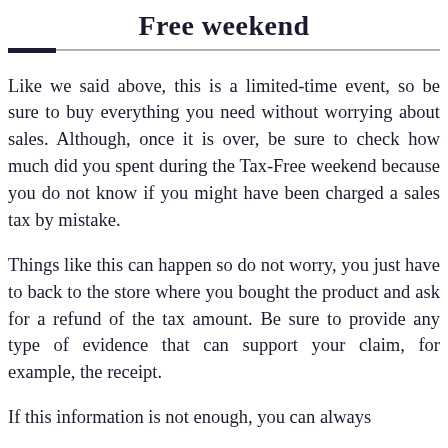Free weekend
Like we said above, this is a limited-time event, so be sure to buy everything you need without worrying about sales. Although, once it is over, be sure to check how much did you spent during the Tax-Free weekend because you do not know if you might have been charged a sales tax by mistake.
Things like this can happen so do not worry, you just have to back to the store where you bought the product and ask for a refund of the tax amount. Be sure to provide any type of evidence that can support your claim, for example, the receipt.
If this information is not enough, you can always